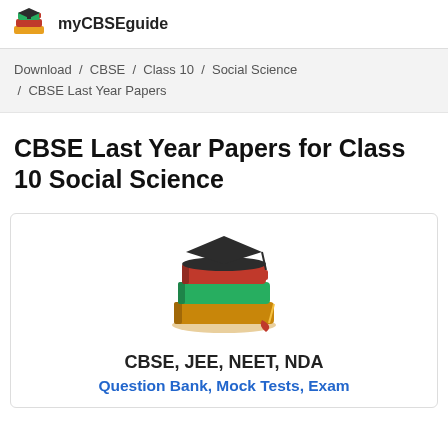myCBSEguide
Download / CBSE / Class 10 / Social Science / CBSE Last Year Papers
CBSE Last Year Papers for Class 10 Social Science
[Figure (illustration): Stack of colorful books with a graduation cap on top]
CBSE, JEE, NEET, NDA
Question Bank, Mock Tests, Exam